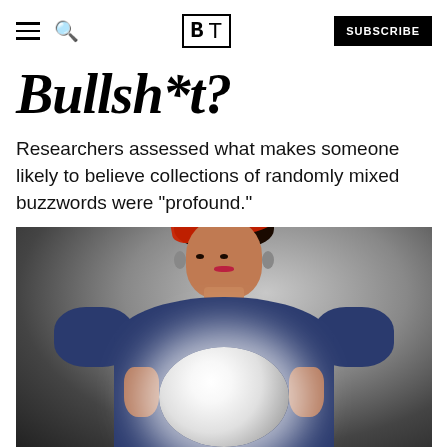BT — SUBSCRIBE
Bullsh*t?
Researchers assessed what makes someone likely to believe collections of randomly mixed buzzwords were "profound."
[Figure (photo): A woman dressed as a fortune teller / gypsy, wearing a red headscarf and blue off-shoulder dress, holding a glowing crystal ball with both hands and looking intensely at the camera. Dark studio background.]